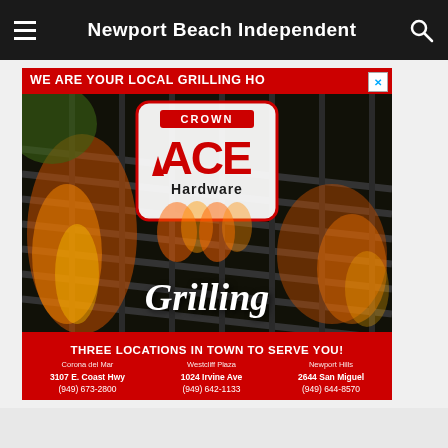Newport Beach Independent
[Figure (advertisement): Crown ACE Hardware grilling advertisement. Red background with grill photo. Text: WE ARE YOUR LOCAL GRILLING HO[DSPOT]. ACE Hardware logo center. 'Grilling' in italic script. THREE LOCATIONS IN TOWN TO SERVE YOU! Corona del Mar: 3107 E. Coast Hwy (949) 673-2800. Westcliff Plaza: 1024 Irvine Ave (949) 642-1133. Newport Hills: 2644 San Miguel (949) 644-8570.]
[Figure (advertisement): Women's Fashion | Shop Online | VENUS. Shop the best in women's fashion, clothing, swimwear. venus.com]